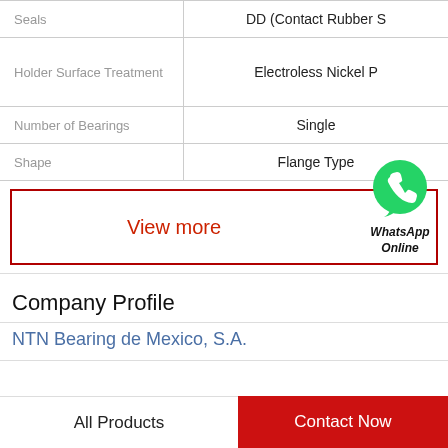| Property | Value |
| --- | --- |
| Seals | DD (Contact Rubber S |
| Holder Surface Treatment | Electroless Nickel P |
| Number of Bearings | Single |
| Shape | Flange Type |
View more
[Figure (logo): WhatsApp green phone icon with WhatsApp Online label]
Company Profile
NTN Bearing de Mexico, S.A.
All Products
Contact Now